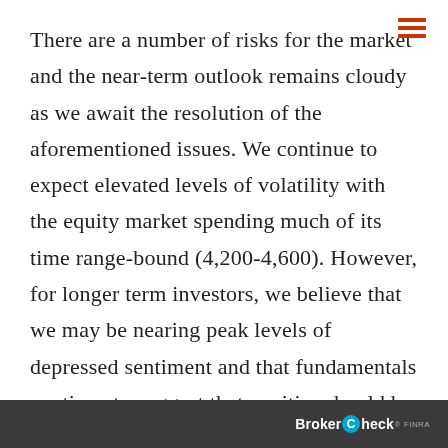There are a number of risks for the market and the near-term outlook remains cloudy as we await the resolution of the aforementioned issues. We continue to expect elevated levels of volatility with the equity market spending much of its time range-bound (4,200-4,600). However, for longer term investors, we believe that we may be nearing peak levels of depressed sentiment and that fundamentals continue to suggest that equities should be higher over the next 12 months.
BrokerCheck